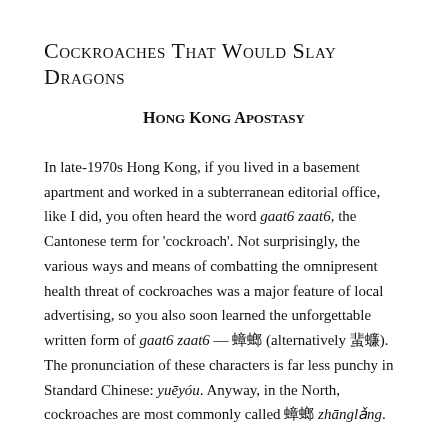Cockroaches That Would Slay Dragons
Hong Kong Apostasy
In late-1970s Hong Kong, if you lived in a basement apartment and worked in a subterranean editorial office, like I did, you often heard the word gaat6 zaat6, the Cantonese term for 'cockroach'. Not surprisingly, the various ways and means of combatting the omnipresent health threat of cockroaches was a major feature of local advertising, so you also soon learned the unforgettable written form of gaat6 zaat6 — 蟑螂 (alternatively 蜚蠊). The pronunciation of these characters is far less punchy in Standard Chinese: yuēyóu. Anyway, in the North, cockroaches are most commonly called 蟑螂 zhānglǎng.